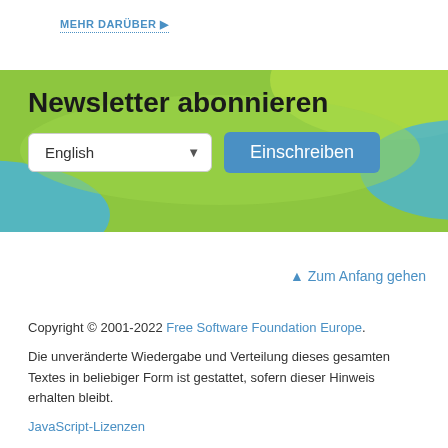MEHR DARÜBER ▶
[Figure (infographic): Newsletter subscription banner with green and blue wave/gradient background. Contains title 'Newsletter abonnieren', a language dropdown showing 'English', and a blue button labeled 'Einschreiben'.]
▲ Zum Anfang gehen
Copyright © 2001-2022 Free Software Foundation Europe.
Die unveränderte Wiedergabe und Verteilung dieses gesamten Textes in beliebiger Form ist gestattet, sofern dieser Hinweis erhalten bleibt.
JavaScript-Lizenzen